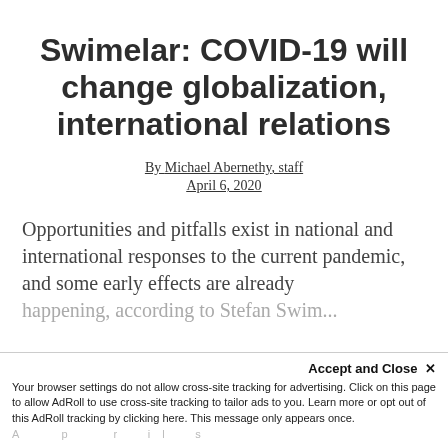Swimelar: COVID-19 will change globalization, international relations
By Michael Abernethy, staff
April 6, 2020
Opportunities and pitfalls exist in national and international responses to the current pandemic, and some early effects are already happening, according to Stefan Swim...
Accept and Close ×
Your browser settings do not allow cross-site tracking for advertising. Click on this page to allow AdRoll to use cross-site tracking to tailor ads to you. Learn more or opt out of this AdRoll tracking by clicking here. This message only appears once.